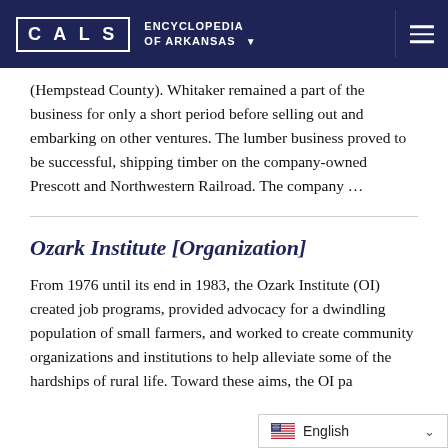CALS ENCYCLOPEDIA OF ARKANSAS
(Hempstead County). Whitaker remained a part of the business for only a short period before selling out and embarking on other ventures. The lumber business proved to be successful, shipping timber on the company-owned Prescott and Northwestern Railroad. The company …
Ozark Institute [Organization]
From 1976 until its end in 1983, the Ozark Institute (OI) created job programs, provided advocacy for a dwindling population of small farmers, and worked to create community organizations and institutions to help alleviate some of the hardships of rural life. Toward these aims, the OI pa...